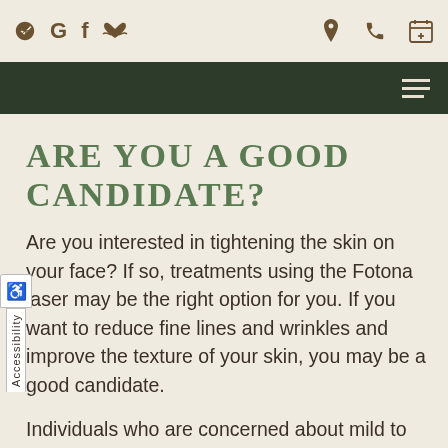Yelp, Google, Facebook, Heartbeat icons | Location | Phone | Calendar
Navigation bar with hamburger menu
ARE YOU A GOOD CANDIDATE?
Are you interested in tightening the skin on your face? If so, treatments using the Fotona laser may be the right option for you. If you want to reduce fine lines and wrinkles and improve the texture of your skin, you may be a good candidate.
Individuals who are concerned about mild to moderate facial issues that are the result